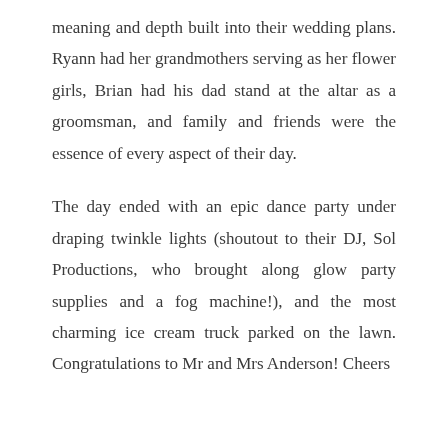meaning and depth built into their wedding plans. Ryann had her grandmothers serving as her flower girls, Brian had his dad stand at the altar as a groomsman, and family and friends were the essence of every aspect of their day.
The day ended with an epic dance party under draping twinkle lights (shoutout to their DJ, Sol Productions, who brought along glow party supplies and a fog machine!), and the most charming ice cream truck parked on the lawn. Congratulations to Mr and Mrs Anderson! Cheers